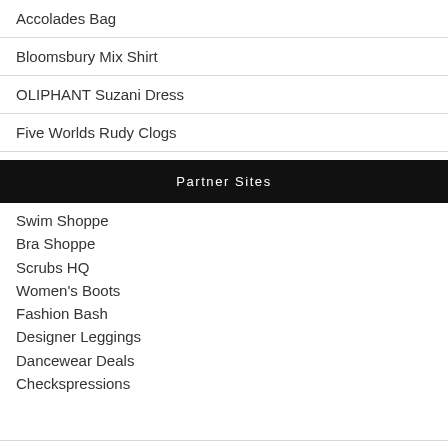Accolades Bag
Bloomsbury Mix Shirt
OLIPHANT Suzani Dress
Five Worlds Rudy Clogs
Partner Sites
Swim Shoppe
Bra Shoppe
Scrubs HQ
Women's Boots
Fashion Bash
Designer Leggings
Dancewear Deals
Checkspressions